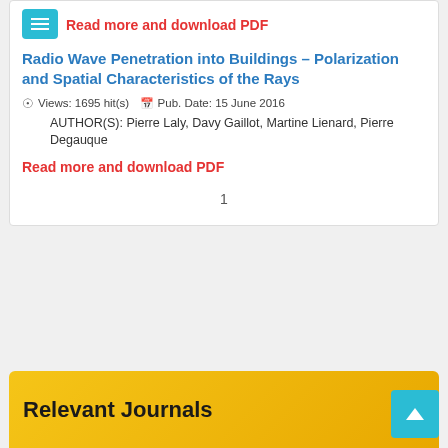Read more and download PDF
Radio Wave Penetration into Buildings – Polarization and Spatial Characteristics of the Rays
Views: 1695 hit(s)  Pub. Date: 15 June 2016
AUTHOR(S): Pierre Laly, Davy Gaillot, Martine Lienard, Pierre Degauque
Read more and download PDF
1
Relevant Journals